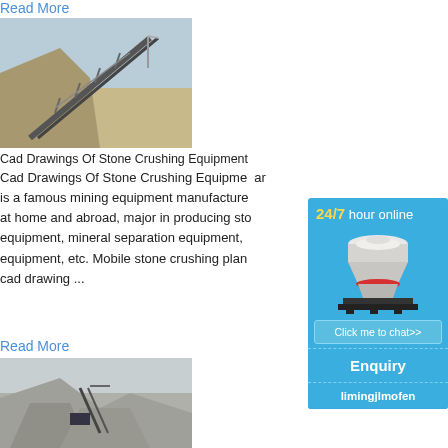Read More
[Figure (photo): Conveyor belt system at a stone quarry/crushing site, angled upward with metal railings, sandy ground and blue sky in background]
Cad Drawings Of Stone Crushing Equipment
Cad Drawings Of Stone Crushing Equipment ... ar is a famous mining equipment manufacture at home and abroad, major in producing sto equipment, mineral separation equipment, equipment, etc. Mobile stone crushing plan cad drawing ...
Read More
[Figure (photo): Outdoor stone crushing/mining site with grey material piles and machinery/conveyor equipment visible]
[Figure (infographic): Blue sidebar widget showing 24/7 hour online text, cone crusher machine image, Click me to chat>> button, Enquiry section, and limingjlmofen contact text]